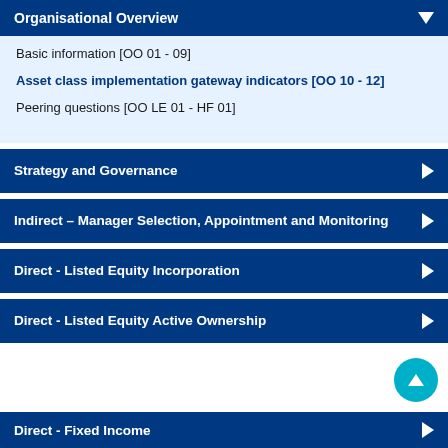Organisational Overview
Basic information [OO 01 - 09]
Asset class implementation gateway indicators [OO 10 - 12]
Peering questions [OO LE 01 - HF 01]
Strategy and Governance
Indirect – Manager Selection, Appointment and Monitoring
Direct - Listed Equity Incorporation
Direct - Listed Equity Active Ownership
Direct - Fixed Income